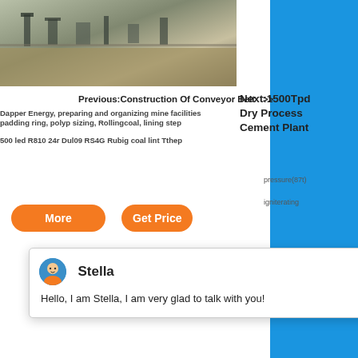[Figure (photo): Aerial view of industrial conveyor belt or mining equipment on a construction/quarry site]
Previous: Construction Of Conveyor Belt >>
Next:1500Tpd Dry Process Cement Plant
Blurred/overlapping navigation and specification text lines
pressure(87t)
igniterating
More
Get Price
[Figure (screenshot): Live chat popup with avatar of Stella, customer service agent]
Stella
Hello, I am Stella, I am very glad to talk with you!
[Figure (photo): Quarry or open pit mine with heavy machinery including a yellow bulldozer and red equipment]
[Figure (photo): Industrial crusher or cement plant machinery on blue background]
1
Click me to chat>>
Enquiry
yuwencrusher